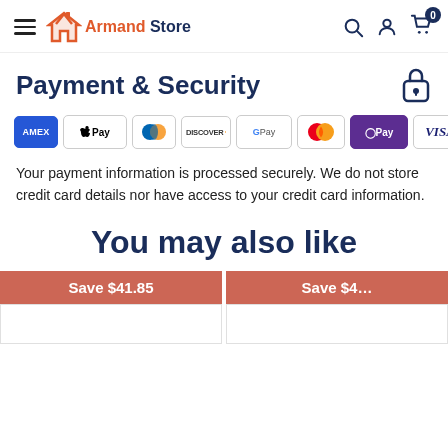Armand Store — navigation header with hamburger menu, logo, search, account, cart (0)
Payment & Security
[Figure (infographic): Payment method icons: American Express, Apple Pay, Diners Club, Discover, Google Pay, Mastercard, OPay, Visa]
Your payment information is processed securely. We do not store credit card details nor have access to your credit card information.
You may also like
Save $41.85
Save $4…